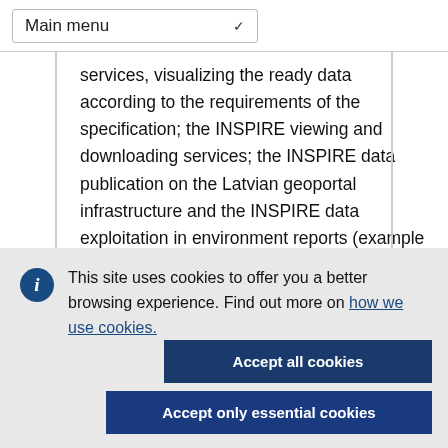Main menu
services, visualizing the ready data according to the requirements of the specification; the INSPIRE viewing and downloading services; the INSPIRE data publication on the Latvian geoportal infrastructure and the INSPIRE data exploitation in environment reports (example
This site uses cookies to offer you a better browsing experience. Find out more on how we use cookies.
Accept all cookies
Accept only essential cookies